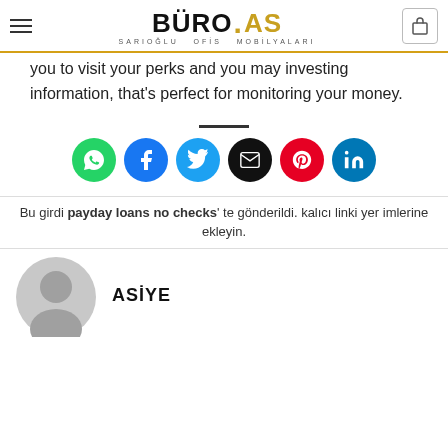BÜRO.AS SARIOĞLU OFİS MOBİLYALARI
you to visit your perks and you may investing information, that's perfect for monitoring your money.
[Figure (other): Social share icons row: WhatsApp (green), Facebook (blue), Twitter (light blue), Email (black), Pinterest (red), LinkedIn (dark blue)]
Bu girdi payday loans no checks' te gönderildi. kalıcı linki yer imlerine ekleyin.
ASİYE